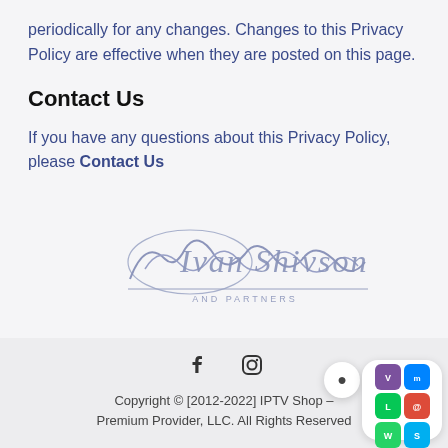periodically for any changes. Changes to this Privacy Policy are effective when they are posted on this page.
Contact Us
If you have any questions about this Privacy Policy, please Contact Us
[Figure (logo): Ivan Shivson And Partners cursive signature logo in grey/blue tones]
Copyright © [2012-2022] IPTV Shop – Premium Provider, LLC. All Rights Reserved